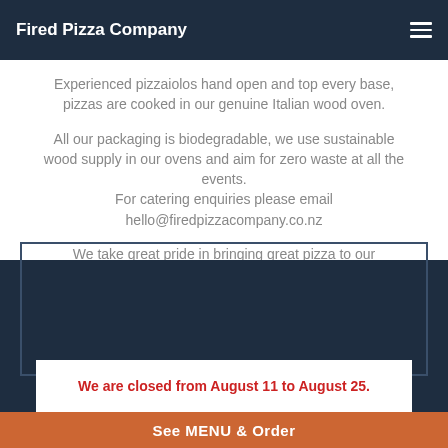Fired Pizza Company
Experienced pizzaiolos hand open and top every base, pizzas are cooked in our genuine Italian wood oven.
All our packaging is biodegradable, we use sustainable wood supply in our ovens and aim for zero waste at all the events.
For catering enquiries please email hello@firedpizzacompany.co.nz
We take great pride in bringing great pizza to our customers . Thanks for your continued support !
We are closed from August 11 to August 25.
See MENU & Order